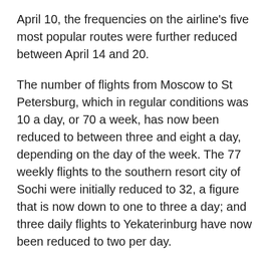April 10, the frequencies on the airline's five most popular routes were further reduced between April 14 and 20.
The number of flights from Moscow to St Petersburg, which in regular conditions was 10 a day, or 70 a week, has now been reduced to between three and eight a day, depending on the day of the week. The 77 weekly flights to the southern resort city of Sochi were initially reduced to 32, a figure that is now down to one to three a day; and three daily flights to Yekaterinburg have now been reduced to two per day.